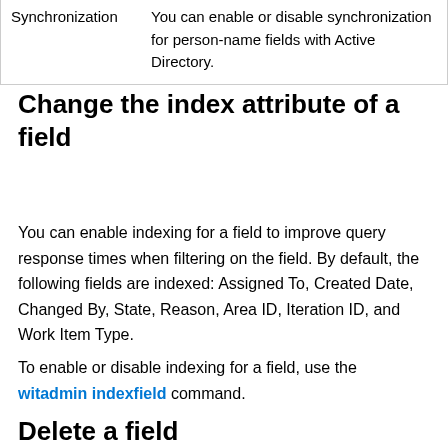| Synchronization | You can enable or disable synchronization for person-name fields with Active Directory. |
Change the index attribute of a field
You can enable indexing for a field to improve query response times when filtering on the field. By default, the following fields are indexed: Assigned To, Created Date, Changed By, State, Reason, Area ID, Iteration ID, and Work Item Type.
To enable or disable indexing for a field, use the witadmin indexfield command.
Delete a field